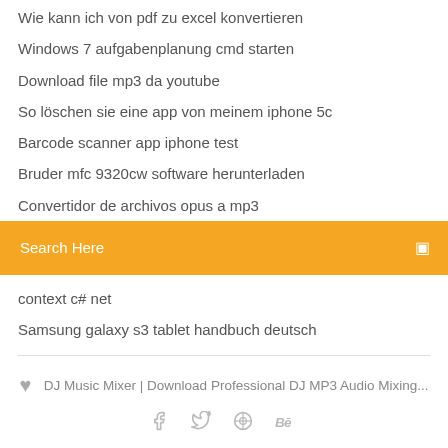Wie kann ich von pdf zu excel konvertieren
Windows 7 aufgabenplanung cmd starten
Download file mp3 da youtube
So löschen sie eine app von meinem iphone 5c
Barcode scanner app iphone test
Bruder mfc 9320cw software herunterladen
Convertidor de archivos opus a mp3
Search Here
context c# net
Samsung galaxy s3 tablet handbuch deutsch
DJ Music Mixer | Download Professional DJ MP3 Audio Mixing...